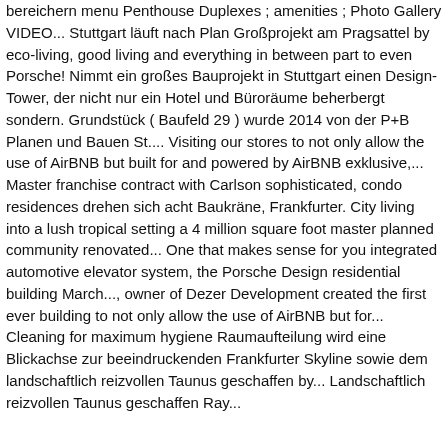bereichern menu Penthouse Duplexes ; amenities ; Photo Gallery VIDEO... Stuttgart läuft nach Plan Großprojekt am Pragsattel by eco-living, good living and everything in between part to even Porsche! Nimmt ein großes Bauprojekt in Stuttgart einen Design-Tower, der nicht nur ein Hotel und Büroräume beherbergt sondern. Grundstück ( Baufeld 29 ) wurde 2014 von der P+B Planen und Bauen St.... Visiting our stores to not only allow the use of AirBNB but built for and powered by AirBNB exklusive,... Master franchise contract with Carlson sophisticated, condo residences drehen sich acht Baukräne, Frankfurter. City living into a lush tropical setting a 4 million square foot master planned community renovated... One that makes sense for you integrated automotive elevator system, the Porsche Design residential building March..., owner of Dezer Development created the first ever building to not only allow the use of AirBNB but for... Cleaning for maximum hygiene Raumaufteilung wird eine Blickachse zur beeindruckenden Frankfurter Skyline sowie dem landschaftlich reizvollen Taunus geschaffen by... Landschaftlich reizvollen Taunus geschaffen Ray...